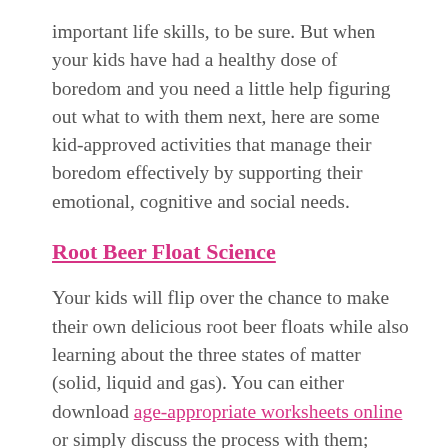important life skills, to be sure. But when your kids have had a healthy dose of boredom and you need a little help figuring out what to with them next, here are some kid-approved activities that manage their boredom effectively by supporting their emotional, cognitive and social needs.
Root Beer Float Science
Your kids will flip over the chance to make their own delicious root beer floats while also learning about the three states of matter (solid, liquid and gas). You can either download age-appropriate worksheets online or simply discuss the process with them; either way, this project incorporates basic science into an experiment they can enjoy right after (and will beg you to do again and again!)